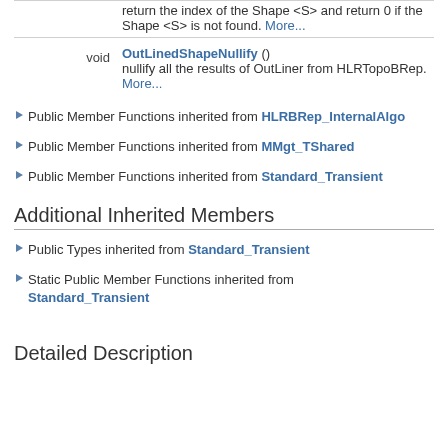| type | function/description |
| --- | --- |
| void | OutLinedShapeNullify ()
nullify all the results of OutLiner from HLRTopoBRep. More... |
▶ Public Member Functions inherited from HLRBRep_InternalAlgo
▶ Public Member Functions inherited from MMgt_TShared
▶ Public Member Functions inherited from Standard_Transient
Additional Inherited Members
▶ Public Types inherited from Standard_Transient
▶ Static Public Member Functions inherited from Standard_Transient
Detailed Description